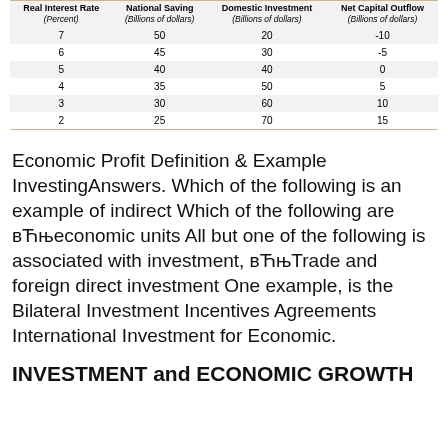| Real Interest Rate (Percent) | National Saving (Billions of dollars) | Domestic Investment (Billions of dollars) | Net Capital Outflow (Billions of dollars) |
| --- | --- | --- | --- |
| 7 | 50 | 20 | -10 |
| 6 | 45 | 30 | -5 |
| 5 | 40 | 40 | 0 |
| 4 | 35 | 50 | 5 |
| 3 | 30 | 60 | 10 |
| 2 | 25 | 70 | 15 |
Economic Profit Definition & Example InvestingAnswers. Which of the following is an example of indirect Which of the following are вЋњeconomic units All but one of the following is associated with investment, вЋњTrade and foreign direct investment One example, is the Bilateral Investment Incentives Agreements International Investment for Economic.
INVESTMENT and ECONOMIC GROWTH